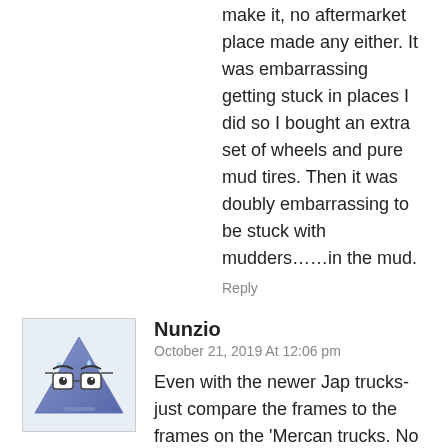make it, no aftermarket place made any either. It was embarrassing getting stuck in places I did so I bought an extra set of wheels and pure mud tires. Then it was doubly embarrassing to be stuck with mudders……in the mud.
Reply
[Figure (illustration): Avatar icon of a blue triangle with cartoon eyes and glasses]
Nunzio
October 21, 2019 At 12:06 pm
Even with the newer Jap trucks- just compare the frames to the frames on the 'Mercan trucks. No contest!
People say Nissan ain't what it used to be, but I never thought it was much. Interference engines and lots of Rube Goldberg engineering. The old Sentras could last...if finessed- but then, so can most things. The rest? Meh...don't see many high-